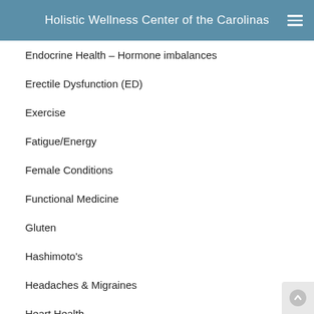Holistic Wellness Center of the Carolinas
Endocrine Health – Hormone imbalances
Erectile Dysfunction (ED)
Exercise
Fatigue/Energy
Female Conditions
Functional Medicine
Gluten
Hashimoto's
Headaches & Migraines
Heart Health
Histamine intolerance
Hormone Imbalance